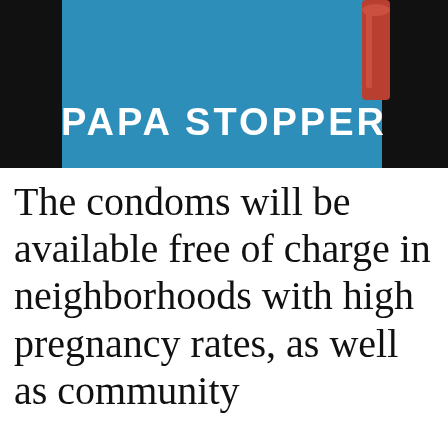[Figure (logo): Papa Stopper product logo — blue rectangular background with black borders on left and right sides, white bold condensed text reading 'PAPA STOPPER', and a red/brown cylindrical shape (condom) in the upper right corner.]
The condoms will be available free of charge in neighborhoods with high pregnancy rates, as well as community